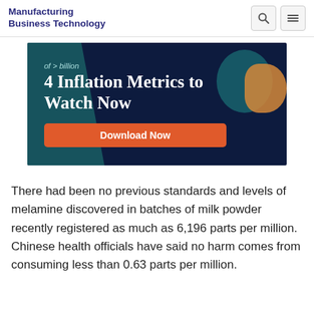Manufacturing Business Technology
[Figure (illustration): Advertisement banner with dark navy background, teal and orange decorative shapes, white serif text reading '4 Inflation Metrics to Watch Now', and a red-orange 'Download Now' button.]
There had been no previous standards and levels of melamine discovered in batches of milk powder recently registered as much as 6,196 parts per million. Chinese health officials have said no harm comes from consuming less than 0.63 parts per million.